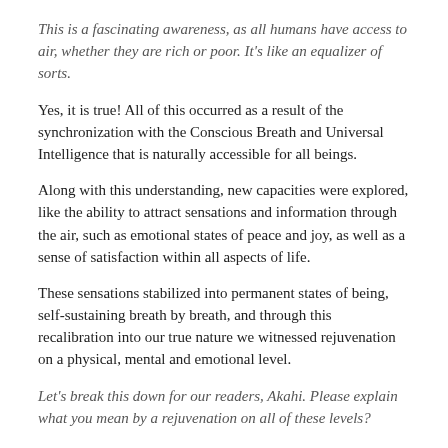This is a fascinating awareness, as all humans have access to air, whether they are rich or poor. It's like an equalizer of sorts.
Yes, it is true! All of this occurred as a result of the synchronization with the Conscious Breath and Universal Intelligence that is naturally accessible for all beings.
Along with this understanding, new capacities were explored, like the ability to attract sensations and information through the air, such as emotional states of peace and joy, as well as a sense of satisfaction within all aspects of life.
These sensations stabilized into permanent states of being, self-sustaining breath by breath, and through this recalibration into our true nature we witnessed rejuvenation on a physical, mental and emotional level.
Let's break this down for our readers, Akahi. Please explain what you mean by a rejuvenation on all of these levels?
Sure. Physically, we are exploring a state of perfect health. For Camila, this includes a balancing of the reproductive system and healing of menstrual pain, and all of this resulting in